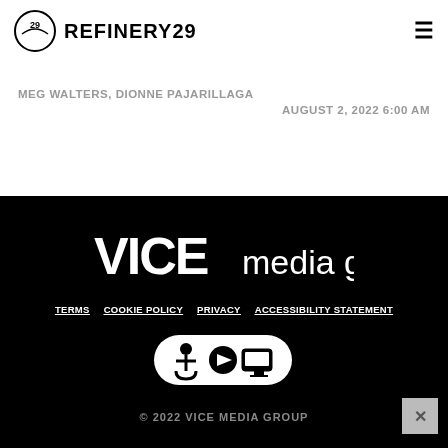REFINERY29
It's No Coincidence That Workplace TV Shows Are Darker Than Ever
MEG WALTERS, DIONNE PAJARILLAGA
AUGUST 2, 2022 6:00 AM
[Figure (logo): VICE media group logo in white on black background]
TERMS  COOKIE POLICY  PRIVACY  ACCESSIBILITY STATEMENT
© 2022 VICE MEDIA GROUP